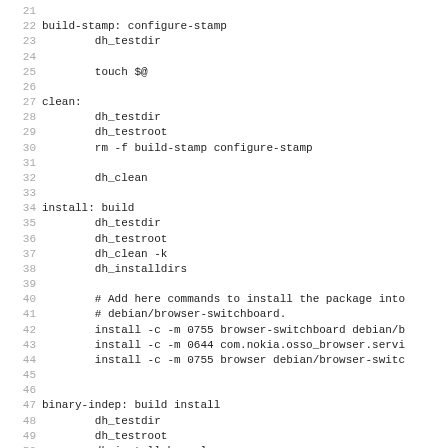Code listing lines 21-52 of a Makefile showing build-stamp, clean, install, and binary-indep targets with dh_ helper commands and install commands for browser-switchboard package.